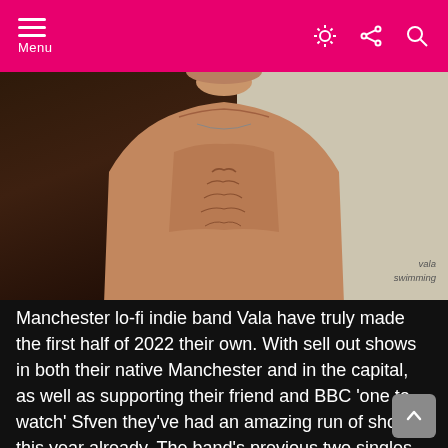Menu
[Figure (photo): Shirtless man from chest up, left side against dark background, right side against light beige background. Text overlay bottom right reads 'vala swimming']
Manchester lo-fi indie band Vala have truly made the first half of 2022 their own. With sell out shows in both their native Manchester and in the capital, as well as supporting their friend and BBC 'one to watch' Sfven they've had an amazing run of shows this year already. The band's previous two singles 'This Town' and 'You Don't Want My Love' have gained massive radio play on Radio X, BBC, XS Manchester and American radio UK/US...